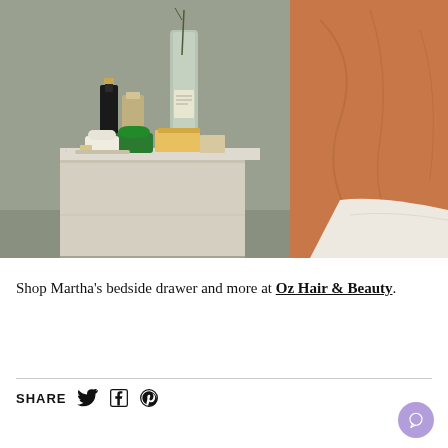[Figure (photo): A bedside table/nightstand with beauty and skincare products on top including a glass bottle with a plant stem, a black and gold bottle, a green jar, a white tub, and other items. An orange/terracotta linen duvet and white pillow are visible on the right side of the image.]
Shop Martha's bedside drawer and more at Oz Hair & Beauty.
SHARE